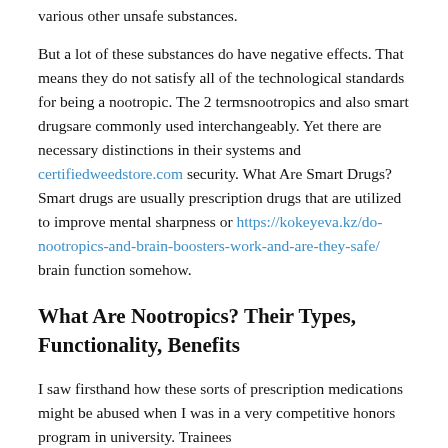various other unsafe substances.
But a lot of these substances do have negative effects. That means they do not satisfy all of the technological standards for being a nootropic. The 2 termsnootropics and also smart drugsare commonly used interchangeably. Yet there are necessary distinctions in their systems and certifiedweedstore.com security. What Are Smart Drugs? Smart drugs are usually prescription drugs that are utilized to improve mental sharpness or https://kokeyeva.kz/do-nootropics-and-brain-boosters-work-and-are-they-safe/ brain function somehow.
What Are Nootropics? Their Types, Functionality, Benefits
I saw firsthand how these sorts of prescription medications might be abused when I was in a very competitive honors program in university. Trainees